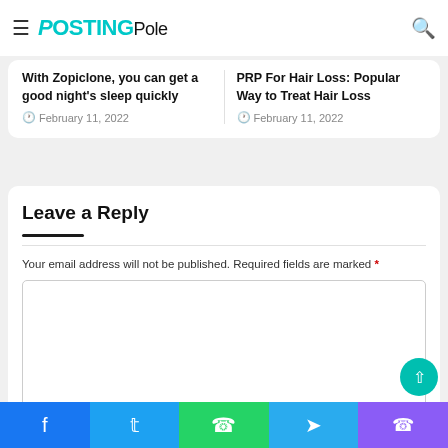PostingPole
With Zopiclone, you can get a good night's sleep quickly
February 11, 2022
PRP For Hair Loss: Popular Way to Treat Hair Loss
February 11, 2022
Leave a Reply
Your email address will not be published. Required fields are marked *
[Figure (screenshot): Comment text area input box]